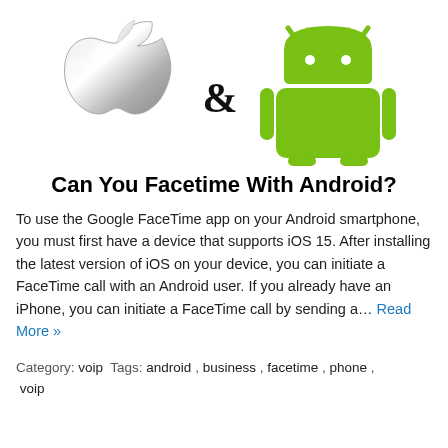[Figure (logo): Apple logo (silver/metallic) on the left and Android robot logo (green) on the right, with a large bold ampersand between them]
Can You Facetime With Android?
To use the Google FaceTime app on your Android smartphone, you must first have a device that supports iOS 15. After installing the latest version of iOS on your device, you can initiate a FaceTime call with an Android user. If you already have an iPhone, you can initiate a FaceTime call by sending a… Read More »
Category: voip Tags: android , business , facetime , phone , voip